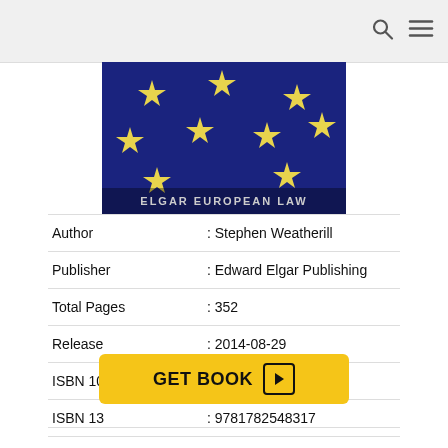Navigation bar with search and menu icons
[Figure (illustration): Book cover with blue background, yellow stars pattern (EU flag style) and text 'ELGAR EUROPEAN LAW' at bottom]
| Author | : Stephen Weatherill |
| Publisher | : Edward Elgar Publishing |
| Total Pages | : 352 |
| Release | : 2014-08-29 |
| ISBN 10 | : 1782548319 |
| ISBN 13 | : 9781782548317 |
| Language | : EN, FR, DE, ES & NL |
GET BOOK